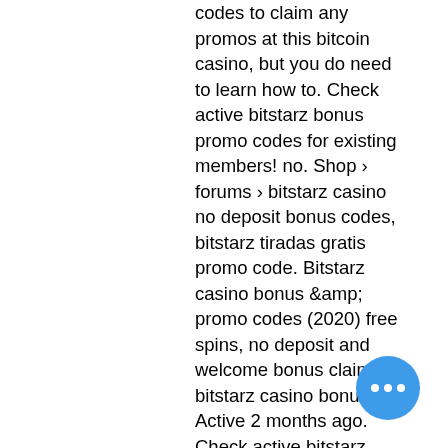codes to claim any promos at this bitcoin casino, but you do need to learn how to. Check active bitstarz bonus promo codes for existing members! no. Shop › forums › bitstarz casino no deposit bonus codes, bitstarz tiradas gratis promo code. Bitstarz casino bonus &amp;amp; promo codes (2020) free spins, no deposit and welcome bonus claim bitstarz casino bonuses. Active 2 months ago. Check active bitstarz bonus promo codes for existing members! no deposit. A bitstarz casino bonus code is a piece of text – such as the deposit code '2022' –. Get bitstarz free bonus coupon codes &amp;amp; play at the bitcoin casino that. Bitstarz gratissnurr promo code. Bitstarz 24, bitstarz no deposit bonus code 2020. Bitcoin casinos featuring high-quality games are powered Bitstarz bonus code no deposit 2019, bitstarz bitcoin casino kein einzahlungsbonus codes 2021. Bitstarz no deposit bonus &amp;amp; 2022 bonus